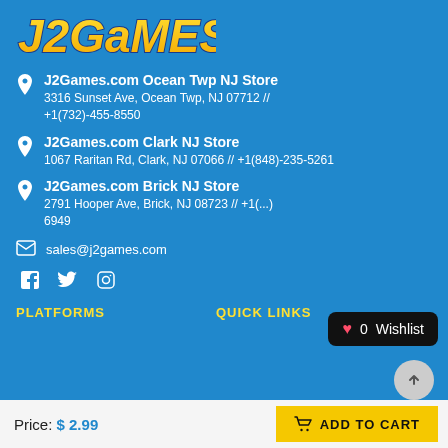[Figure (logo): J2Games.com logo with yellow/orange bubble text on blue background]
J2Games.com Ocean Twp NJ Store
3316 Sunset Ave, Ocean Twp, NJ 07712 // +1(732)-455-8550
J2Games.com Clark NJ Store
1067 Raritan Rd, Clark, NJ 07066 // +1(848)-235-5261
J2Games.com Brick NJ Store
2791 Hooper Ave, Brick, NJ 08723 // +1(...)-6949
sales@j2games.com
f  Twitter  Instagram (social icons)
PLATFORMS
QUICK LINKS
Price: $2.99
ADD TO CART